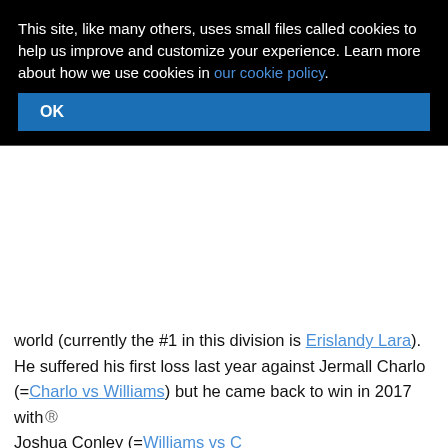This site, like many others, uses small files called cookies to help us improve and customize your experience. Learn more about how we use cookies in our cookie policy.
OK
world (currently the #1 in this division is Erislandy Lara). He suffered his first loss last year against Jermall Charlo (=Charlo vs Williams) but he came back to win in 2017 with Joshua Conley (=Williams vs C...
[Figure (other): Black video player overlay with white circular loading spinner and a CLOSE button]
His opponent, the former Ibf lig... Smith, has an official record of... he is not ranked as he hasn't fo... 2016 when he defeated Frank Galarza (=Smith vs Galarza); before this bout, in 2015, he had beat Tommy Rainone, but he had also lost to Vanes Martirosyan via majority decision, Martirosyan vs Smith). Williams vs Smith is the main event of the evening. Watch the video and rate